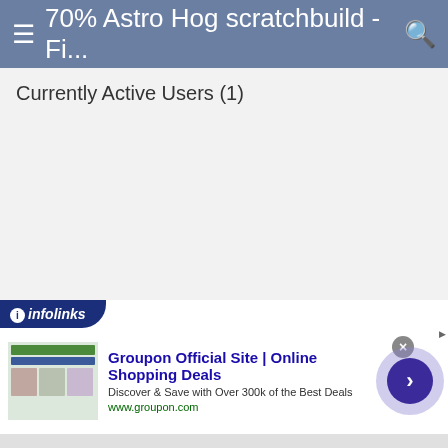≡ 70% Astro Hog scratchbuild - Fi... 🔍
Currently Active Users (1)
[Figure (screenshot): An advertisement banner for Groupon Official Site | Online Shopping Deals. Shows 'Discover & Save with Over 300k of the Best Deals' and URL www.groupon.com, with infolinks branding bar at top, a close X button, and a right-arrow navigation button.]